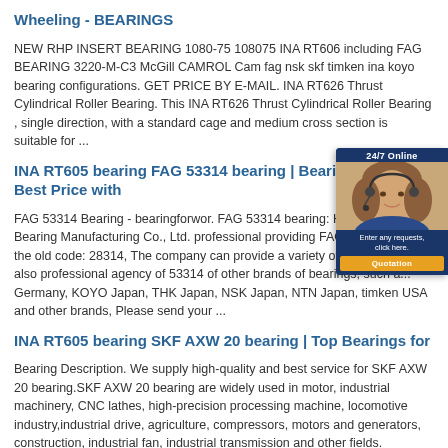Wheeling - BEARINGS
NEW RHP INSERT BEARING 1080-75 108075 INA RT606 including FAG BEARING 3220-M-C3 McGill CAMROL Cam fag nsk skf timken ina koyo bearing configurations. GET PRICE BY E-MAIL. INA RT626 Thrust Cylindrical Roller Bearing. This INA RT626 Thrust Cylindrical Roller Bearing , single direction, with a standard cage and medium cross section is suitable for ...
INA RT605 bearing FAG 53314 bearing | Bearing Supplier Best Price with
FAG 53314 Bearing - bearingforwor. FAG 53314 bearing: Hangzhou BFW Bearing Manufacturing Co., Ltd. professional providing FAG 53314 Bea... the old code: 28314, The company can provide a variety of bearings, w... also professional agency of 53314 of other brands of bearings, such a... Germany, KOYO Japan, THK Japan, NSK Japan, NTN Japan, timken USA and other brands, Please send your ...
INA RT605 bearing SKF AXW 20 bearing | Top Bearings for
Bearing Description. We supply high-quality and best service for SKF AXW 20 bearing.SKF AXW 20 bearing are widely used in motor, industrial machinery, CNC lathes, high-precision processing machine, locomotive industry,industrial drive, agriculture, compressors, motors and generators, construction, industrial fan, industrial transmission and other fields.
[Figure (other): 24/7 Online customer service chat widget with a photo of a woman wearing a headset, and a Quotation button]